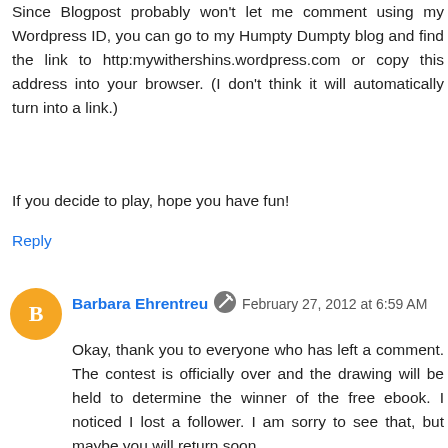Since Blogpost probably won't let me comment using my Wordpress ID, you can go to my Humpty Dumpty blog and find the link to http:mywithershins.wordpress.com or copy this address into your browser. (I don't think it will automatically turn into a link.)
If you decide to play, hope you have fun!
Reply
Barbara Ehrentreu  February 27, 2012 at 6:59 AM
Okay, thank you to everyone who has left a comment. The contest is officially over and the drawing will be held to determine the winner of the free ebook. I noticed I lost a follower. I am sorry to see that, but maybe you will return soon.
Campaign people I will be answering your questions on my next blog today.:)
Reply
To leave a comment, click the button below to sign in with